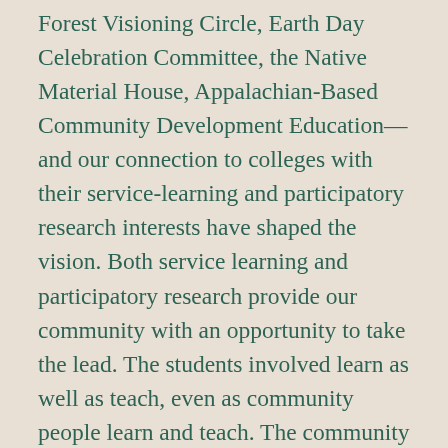Forest Visioning Circle, Earth Day Celebration Committee, the Native Material House, Appalachian-Based Community Development Education—and our connection to colleges with their service-learning and participatory research interests have shaped the vision. Both service learning and participatory research provide our community with an opportunity to take the lead. The students involved learn as well as teach, even as community people learn and teach. The community becomes a place of learning for both residents and students. The process of breaking down barriers based on differences of class and place while building up a sense of interrelatedness can begin.We